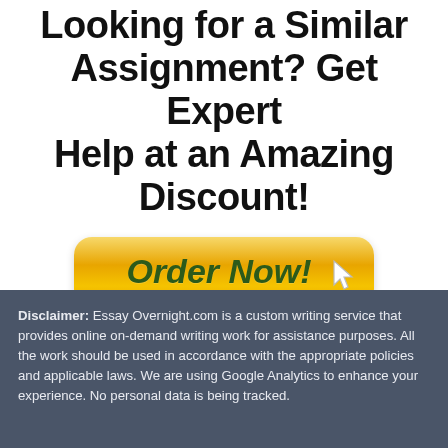Looking for a Similar Assignment? Get Expert Help at an Amazing Discount!
[Figure (other): Orange gradient 'Order Now!' button with cursor icon and payment logos (VISA, MasterCard, American Express, DISCOVER, PayPal, 100% Secure SSL Encryption)]
Disclaimer: Essay Overnight.com is a custom writing service that provides online on-demand writing work for assistance purposes. All the work should be used in accordance with the appropriate policies and applicable laws. We are using Google Analytics to enhance your experience. No personal data is being tracked.